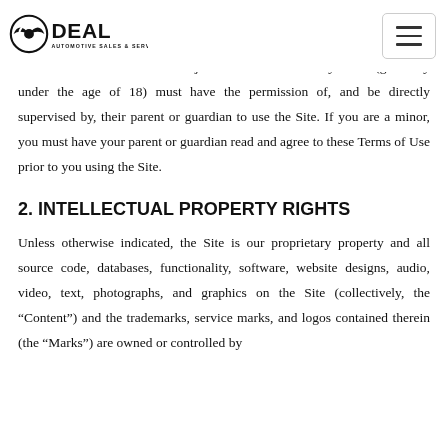IDEAL Automotive Sales & Services
All users who are minors in the jurisdiction in which they reside (generally under the age of 18) must have the permission of, and be directly supervised by, their parent or guardian to use the Site. If you are a minor, you must have your parent or guardian read and agree to these Terms of Use prior to you using the Site.
2. INTELLECTUAL PROPERTY RIGHTS
Unless otherwise indicated, the Site is our proprietary property and all source code, databases, functionality, software, website designs, audio, video, text, photographs, and graphics on the Site (collectively, the “Content”) and the trademarks, service marks, and logos contained therein (the “Marks”) are owned or controlled by